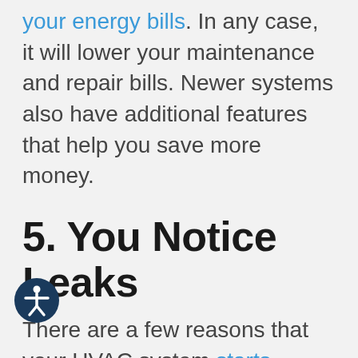your energy bills. In any case, it will lower your maintenance and repair bills. Newer systems also have additional features that help you save more money.
5. You Notice Leaks
There are a few reasons that your HVAC system starts leaking. It could be a damaged condenser unit or a